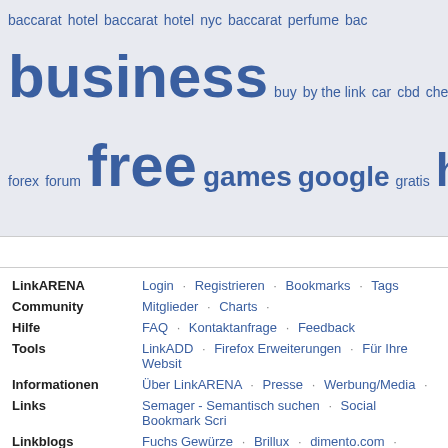[Figure (infographic): Tag cloud with blue words of varying sizes on light blue/grey background. Words include: baccarat, hotel, baccarat hotel nyc, baccarat perfume, bac..., business, buy, by the link, car, cbd, cheap, community, com..., forex, forum, free, games, google, gratis, health, home, h..., money, movie, music, nachrichten, new, news, of, on, the, compressor, leak, repair, leak in air conditioner, review, thethaoonline.net, tips to, travel, urlaub, video, videos, vs, wat...]
| Category | Links |
| --- | --- |
| LinkARENA | Login · Registrieren · Bookmarks · Tags |
| Community | Mitglieder · Charts · |
| Hilfe | FAQ · Kontaktanfrage · Feedback |
| Tools | LinkADD · Firefox Erweiterungen · Für Ihre Website |
| Informationen | Über LinkARENA · Presse · Werbung/Media · |
| Links | Semager - Semantisch suchen · Social Bookmark Scri... |
| Linkblogs | Fuchs Gewürze · Brillux · dimento.com · Cervo... |
|  | Sparkasse Münsterland Ost · OfficeCall · Glassch... |